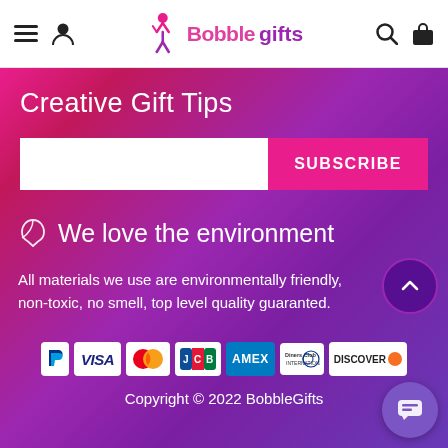Bobblegifts navigation bar with hamburger menu, user icon, logo, search icon, and bag icon
Creative Gift Tips
[Figure (screenshot): Email subscription input field with white background and pink SUBSCRIBE button]
🌿 We love the environment
All materials we use are environmentally friendly, non-toxic, no smell, top level quality guaranted.
[Figure (logo): Payment method logos: PayPal, VISA, Mastercard, JCB, AMEX, Diners Club International, Discover]
Copyright © 2022 BobbleGifts